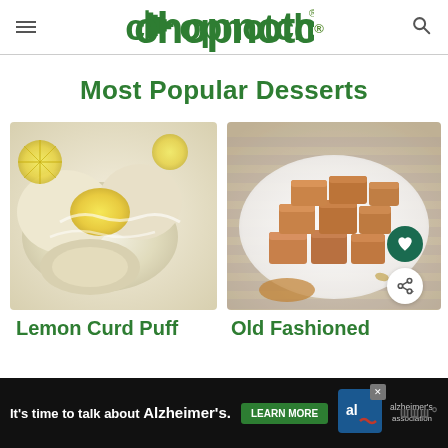chopnotch®
Most Popular Desserts
[Figure (photo): Lemon Curd Puff pastry with lemon glaze and lemon slices on a white surface]
Lemon Curd Puff
[Figure (photo): Old Fashioned fudge cubes stacked on a white plate with caramel sauce nearby]
Old Fashioned
[Figure (other): Advertisement banner: It's time to talk about Alzheimer's. Learn More. Alzheimer's Association logo.]